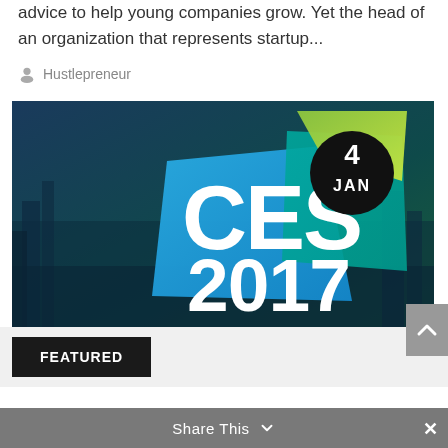advice to help young companies grow. Yet the head of an organization that represents startup...
Hustlepreneur
[Figure (photo): CES 2017 promotional banner image with colorful geometric shapes on a dark cityscape background. A black circle badge shows '4 JAN' in white text.]
FEATURED
Share This